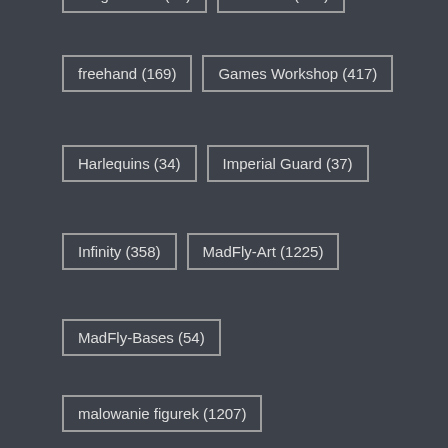Forge World (62)
For Sale (163)
freehand (169)
Games Workshop (417)
Harlequins (34)
Imperial Guard (37)
Infinity (358)
MadFly-Art (1225)
MadFly-Bases (54)
malowanie figurek (1207)
Masters6-level (618)
Masters7-level (89)
miniature painting service (1218)
miniature painting studio (1229)
NMM (1008)
Nomads (111)
OSL (27)
painting contest (42)